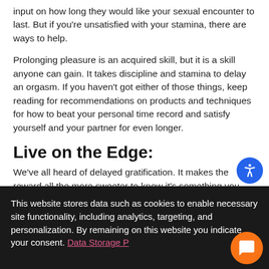input on how long they would like your sexual encounter to last. But if you're unsatisfied with your stamina, there are ways to help.
Prolonging pleasure is an acquired skill, but it is a skill anyone can gain. It takes discipline and stamina to delay an orgasm. If you haven't got either of those things, keep reading for recommendations on products and techniques for how to beat your personal time record and satisfy yourself and your partner for even longer.
Live on the Edge:
We've all heard of delayed gratification. It makes the reward all the more sweeter to know it's something you had to work for, to wait for, and how when you finally get what you've been building up to it becomes something to savor rather than
This website stores data such as cookies to enable necessary site functionality, including analytics, targeting, and personalization. By remaining on this website you indicate your consent. Data Storage P